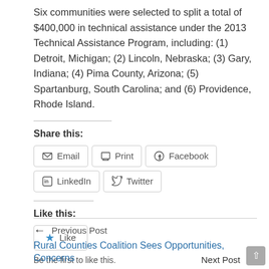Six communities were selected to split a total of $400,000 in technical assistance under the 2013 Technical Assistance Program, including: (1) Detroit, Michigan; (2) Lincoln, Nebraska; (3) Gary, Indiana; (4) Pima County, Arizona; (5) Spartanburg, South Carolina; and (6) Providence, Rhode Island.
Share this:
Email | Print | Facebook | LinkedIn | Twitter
Like this:
Like
Be the first to like this.
← Previous Post
Rural Counties Coalition Sees Opportunities, Concerns
Next Post →